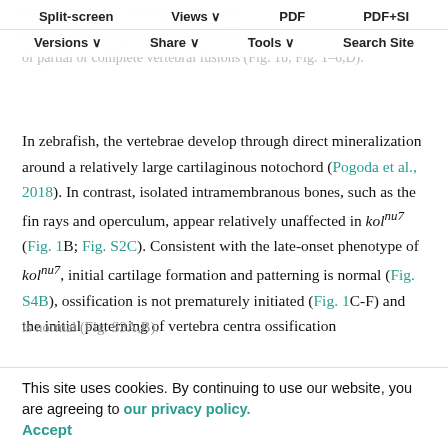Split-screen | Views | PDF | PDF+SI | Versions | Share | Tools | Search Site
ossification S2C. Similarly, the observed compressed body phenotype of kolnu7 (Fig. 1A,B) is a result of partial or complete vertebral fusions (Fig. 1b; Fig. 1–6,D).
In zebrafish, the vertebrae develop through direct mineralization around a relatively large cartilaginous notochord (Pogoda et al., 2018). In contrast, isolated intramembranous bones, such as the fin rays and operculum, appear relatively unaffected in kolnu7 (Fig. 1B; Fig. S2C). Consistent with the late-onset phenotype of kolnu7, initial cartilage formation and patterning is normal (Fig. S4B), ossification is not prematurely initiated (Fig. 1C-F) and the initial patterning of vertebra centra ossification
is normal (Fig. S3A,B).
This site uses cookies. By continuing to use our website, you are agreeing to our privacy policy.
Accept